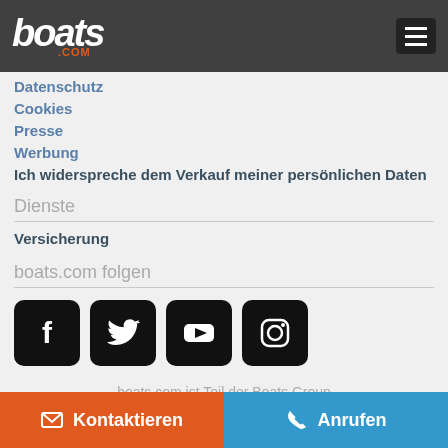[Figure (logo): boats.com logo in white italic bold text on dark header, with .COM in orange below]
Datenschutz
Cookies
Presse
Werbung
Ich widerspreche dem Verkauf meiner persönlichen Daten
Dienste
Versicherung
boats.com folgen
[Figure (illustration): Four social media icons: Facebook, Twitter, YouTube, Instagram — white icons on black rounded square backgrounds]
boats.com ist Teil der Boats Group
Kontaktieren
Anrufen